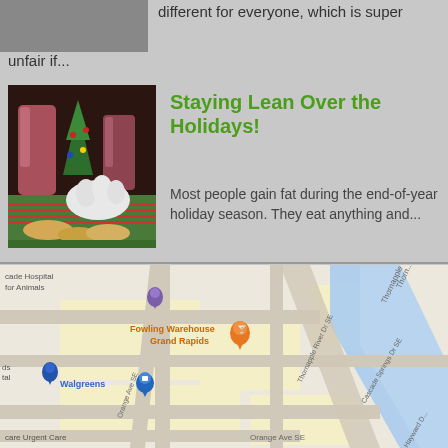[Figure (photo): Partial image at top, partially cropped]
different for everyone, which is super unfair if...
[Figure (photo): Holiday food and decorations image with Santa glove and Christmas treats]
Staying Lean Over the Holidays!
Most people gain fat during the end-of-year holiday season. They eat anything and...
[Figure (map): Google Maps screenshot showing Fowling Warehouse Grand Rapids, Walgreens, cade Hospital for Animals, care Urgent Care, with streets Orange Ave SE, Thornapple River Dr SE, Cascade Springs Dr SE, Hayward, Thornapple Ri...]